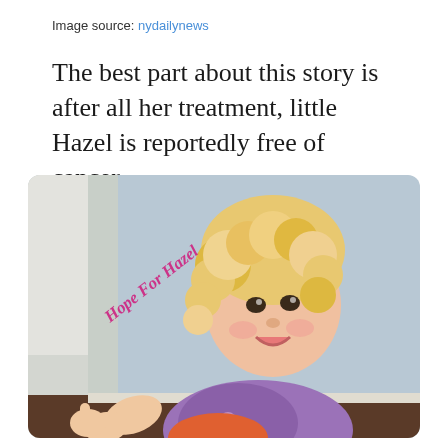Image source: nydailynews
The best part about this story is after all her treatment, little Hazel is reportedly free of cancer.
[Figure (photo): A smiling young toddler girl with curly blonde hair wearing a purple floral tank top, giving a thumbs up. Behind her on a light blue wall is handwritten text in pink/purple marker reading 'Hope For Hazel'. The setting appears to be a home or medical facility.]